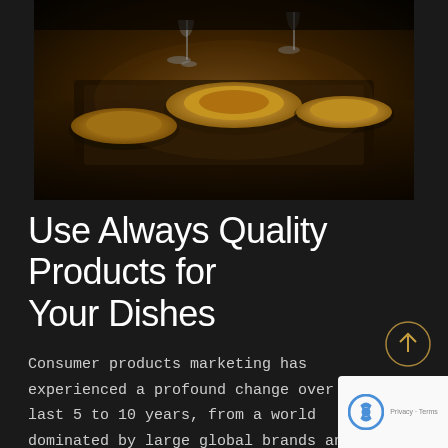[Figure (photo): Overhead/angled view of a restaurant table setting with plates, wine glasses, and wooden serving boards in warm amber/dark lighting]
Use Always Quality Products for Your Dishes
Consumer products marketing has experienced a profound change over the last 5 to 10 years, from a world dominated by large global brands and established TV and big-box retail models to a world that's quickly much more complex,